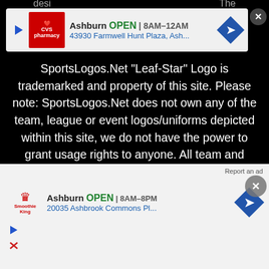[Figure (screenshot): CVS Pharmacy ad banner: Ashburn OPEN 8AM-12AM, 43930 Farmwell Hunt Plaza, Ash...]
SportsLogos.Net "Leaf-Star" Logo is trademarked and property of this site. Please note: SportsLogos.Net does not own any of the team, league or event logos/uniforms depicted within this site, we do not have the power to grant usage rights to anyone. All team and league information, sports logos, sports uniforms and names contained within this site are properties of their respective leagues, teams, ownership groups and/or organizations. If you'd like to use any of the research from this site, please properly credit this site and provide a link back. This site is maintained for research, educational, and historical purposes only, do not abuse it.
Proudly ... News
[Figure (screenshot): Smoothie King ad banner: Ashburn OPEN 8AM-8PM, 20035 Ashbrook Commons Pl...]